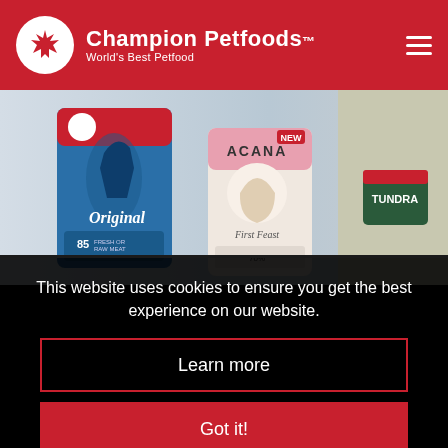[Figure (logo): Champion Petfoods logo: white circle with red maple leaf icon, white text 'Champion Petfoods.' and tagline 'World's Best Petfood' on red header background with hamburger menu icon on right]
[Figure (photo): Hero image showing Orijen Original dog food bag (blue/red) and Acana First Feast bag (pink/cream) on light background, with partial view of another product (Tundra) on right side]
This website uses cookies to ensure you get the best experience on our website.
Learn more
Got it!